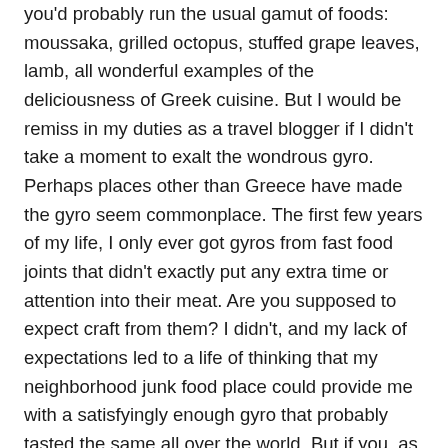you'd probably run the usual gamut of foods: moussaka, grilled octopus, stuffed grape leaves, lamb, all wonderful examples of the deliciousness of Greek cuisine. But I would be remiss in my duties as a travel blogger if I didn't take a moment to exalt the wondrous gyro. Perhaps places other than Greece have made the gyro seem commonplace. The first few years of my life, I only ever got gyros from fast food joints that didn't exactly put any extra time or attention into their meat. Are you supposed to expect craft from them? I didn't, and my lack of expectations led to a life of thinking that my neighborhood junk food place could provide me with a satisfyingly enough gyro that probably tasted the same all over the world. But if you, as readers, have not learned anything from my chronicles, you can guess that my first assumptions of these things are usually proven wrong. It's almost my modus operandi: make a seemingly educated guess, get immediately proven wrong.